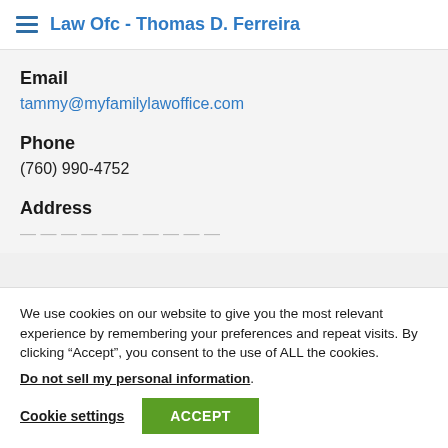Law Ofc - Thomas D. Ferreira
Email
tammy@myfamilylawoffice.com
Phone
(760) 990-4752
Address
We use cookies on our website to give you the most relevant experience by remembering your preferences and repeat visits. By clicking “Accept”, you consent to the use of ALL the cookies.
Do not sell my personal information.
Cookie settings   ACCEPT